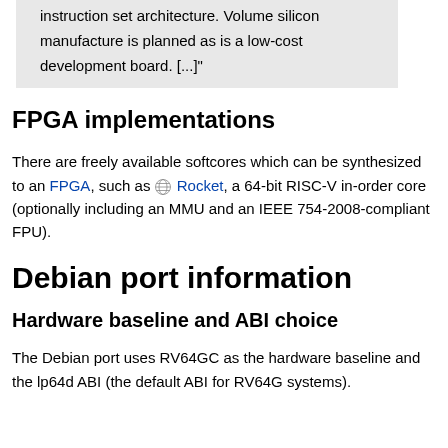instruction set architecture. Volume silicon manufacture is planned as is a low-cost development board. [...]"
FPGA implementations
There are freely available softcores which can be synthesized to an FPGA, such as 🌐 Rocket, a 64-bit RISC-V in-order core (optionally including an MMU and an IEEE 754-2008-compliant FPU).
Debian port information
Hardware baseline and ABI choice
The Debian port uses RV64GC as the hardware baseline and the lp64d ABI (the default ABI for RV64G systems).